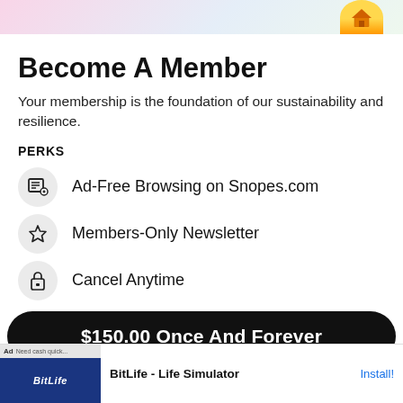[Figure (illustration): Top banner with pastel gradient background and a small house/building icon in yellow-orange circle on the right]
Become A Member
Your membership is the foundation of our sustainability and resilience.
PERKS
Ad-Free Browsing on Snopes.com
Members-Only Newsletter
Cancel Anytime
$150.00 Once And Forever
[Figure (screenshot): Ad banner for BitLife - Life Simulator app with red background and cartoon character]